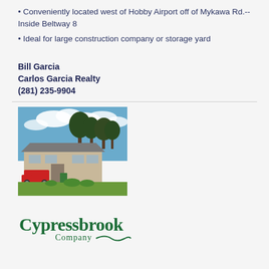• Conveniently located west of Hobby Airport off of Mykawa Rd.--Inside Beltway 8
• Ideal for large construction company or storage yard
Bill Garcia
Carlos Garcia Realty
(281) 235-9904
[Figure (photo): Exterior photo of a commercial/industrial building with red truck parked in front, trees and blue sky with clouds in background, green grass in foreground]
[Figure (logo): Cypressbrook Company logo in dark green serif font with a decorative swirl/wave element]